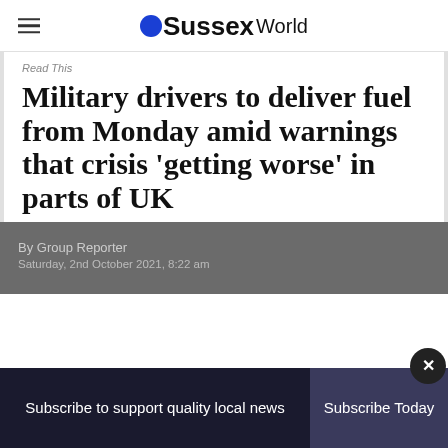Sussex World
Read This
Military drivers to deliver fuel from Monday amid warnings that crisis ‘getting worse’ in parts of UK
By Group Reporter
Saturday, 2nd October 2021, 8:22 am
Subscribe to support quality local news
Subscribe Today